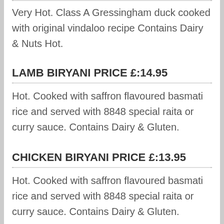Very Hot. Class A Gressingham duck cooked with original vindaloo recipe Contains Dairy & Nuts Hot.
LAMB BIRYANI PRICE £:14.95
Hot. Cooked with saffron flavoured basmati rice and served with 8848 special raita or curry sauce. Contains Dairy & Gluten.
CHICKEN BIRYANI PRICE £:13.95
Hot. Cooked with saffron flavoured basmati rice and served with 8848 special raita or curry sauce. Contains Dairy & Gluten.